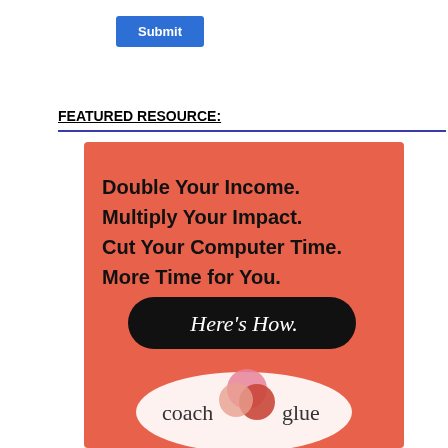[Figure (screenshot): Blue 'Submit' button in upper left area]
FEATURED RESOURCE:
[Figure (infographic): CoachGlue advertisement on salmon/orange background with bold text: 'Double Your Income. Multiply Your Impact. Cut Your Computer Time. More Time for You.' and a black rounded button 'Here's How.' with CoachGlue logo at bottom]